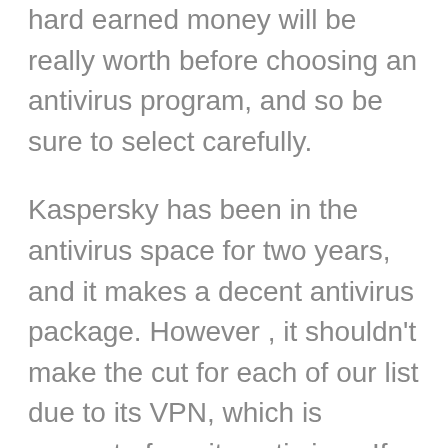hard earned money will be really worth before choosing an antivirus program, and so be sure to select carefully. Kaspersky has been in the antivirus space for two years, and it makes a decent antivirus package. However , it shouldn't make the cut for each of our list due to its VPN, which is separate from its anti virus. If you're looking for a great all-in-one program, McAfee is